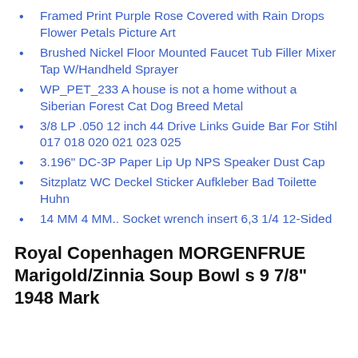Framed Print Purple Rose Covered with Rain Drops Flower Petals Picture Art
Brushed Nickel Floor Mounted Faucet Tub Filler Mixer Tap W/Handheld Sprayer
WP_PET_233 A house is not a home without a Siberian Forest Cat Dog Breed Metal
3/8 LP .050 12 inch 44 Drive Links Guide Bar For Stihl 017 018 020 021 023 025
3.196" DC-3P Paper Lip Up NPS Speaker Dust Cap
Sitzplatz WC Deckel Sticker Aufkleber Bad Toilette Huhn
14 MM 4 MM.. Socket wrench insert 6,3 1/4 12-Sided
Royal Copenhagen MORGENFRUE Marigold/Zinnia Soup Bowl s 9 7/8" 1948 Mark